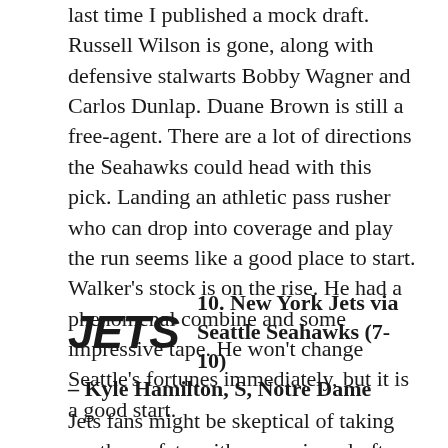last time I published a mock draft. Russell Wilson is gone, along with defensive stalwarts Bobby Wagner and Carlos Dunlap. Duane Brown is still a free-agent. There are a lot of directions the Seahawks could head with this pick. Landing an athletic pass rusher who can drop into coverage and play the run seems like a good place to start. Walker's stock is on the rise. He had a phenomenal combine and some impressive tape. He won't change Seattle's fortunes immediately, but it is a good start.
[Figure (logo): New York Jets logo text in bold italic: JETS]
10. New York Jets via Seattle Seahawks (7-10)
– Kyle Hamilton, S, Notre Dame
Jets fans might be skeptical of taking another safety with a premium draft pick, but Hamilton